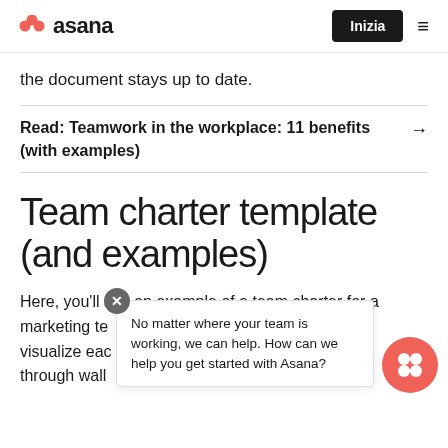Asana — navigation bar with Inizia button
the document stays up to date.
Read: Teamwork in the workplace: 11 benefits (with examples)
Team charter template (and examples)
Here, you'll see an example of a team charter for a marketing te… visualize eac… through wall… of team. This format also makes it
No matter where your team is working, we can help. How can we help you get started with Asana?